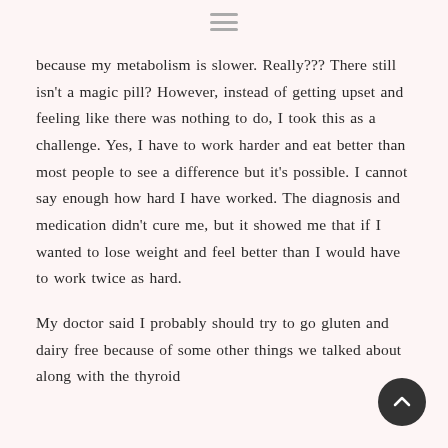because my metabolism is slower. Really??? There still isn't a magic pill? However, instead of getting upset and feeling like there was nothing to do, I took this as a challenge. Yes, I have to work harder and eat better than most people to see a difference but it's possible. I cannot say enough how hard I have worked. The diagnosis and medication didn't cure me, but it showed me that if I wanted to lose weight and feel better than I would have to work twice as hard.
My doctor said I probably should try to go gluten and dairy free because of some other things we talked about along with the thyroid